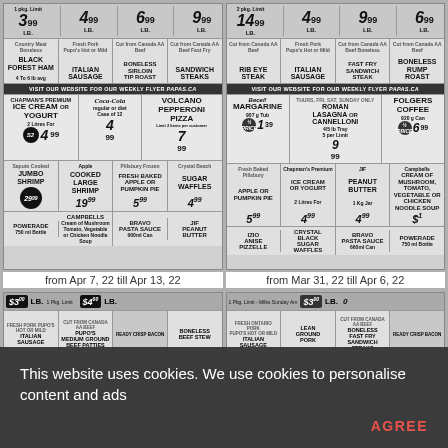[Figure (screenshot): Grocery store flyer showing meats and products including Black Forest Ham, Italian Sausage, Boneless Sirloin Tip Roast, Sandwich Steaks with prices]
[Figure (screenshot): Grocery store flyer showing Rib Eye Steak, Italian Sausage, Boneless Fast Fry Sandwich Steak, Boneless Rump Roast with prices]
from Apr 7, 22 till Apr 13, 22
from Mar 31, 22 till Apr 6, 22
[Figure (screenshot): Grocery store flyer showing Italian Sausage, Pupo's Medium Ground Beef Patties, Boneless Beef Stew with prices]
[Figure (screenshot): Grocery store flyer showing Italian Sausage, Lean Ground Pork, Boneless Fast Fry Sandwich Steaks with prices]
This website uses cookies. We use cookies to personalise content and ads
AGREE